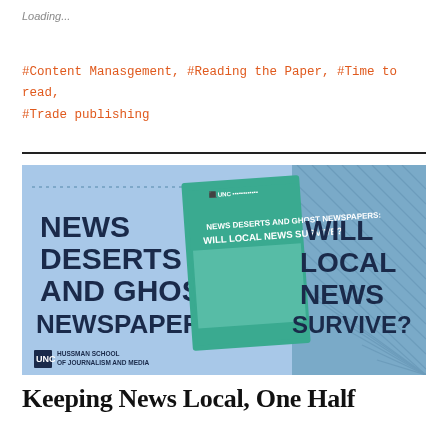Loading...
#Content Manasgement, #Reading the Paper, #Time to read, #Trade publishing
[Figure (illustration): Promotional banner for UNC Hussman School of Journalism and Media report titled 'News Deserts and Ghost Newspapers: Will Local News Survive?' featuring bold dark blue text on a light blue background with a teal book cover image in the center and diagonal stripe patterns on the right side.]
Keeping News Local, One Half